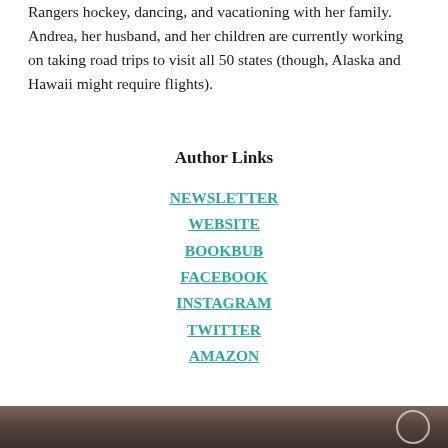Rangers hockey, dancing, and vacationing with her family. Andrea, her husband, and her children are currently working on taking road trips to visit all 50 states (though, Alaska and Hawaii might require flights).
Author Links
NEWSLETTER
WEBSITE
BOOKBUB
FACEBOOK
INSTAGRAM
TWITTER
AMAZON
[Figure (photo): Bottom portion of a person's photo, partially visible at the bottom of the page, with a circular logo/watermark in the lower right corner.]